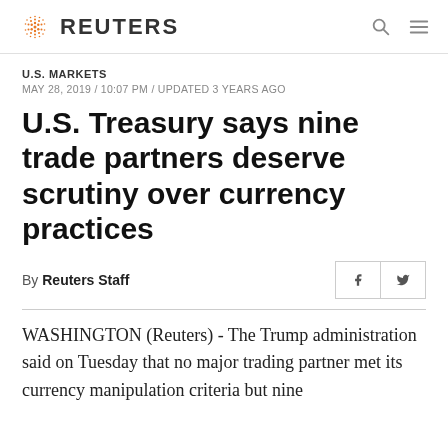REUTERS
U.S. MARKETS
MAY 28, 2019 / 10:07 PM / UPDATED 3 YEARS AGO
U.S. Treasury says nine trade partners deserve scrutiny over currency practices
By Reuters Staff
WASHINGTON (Reuters) - The Trump administration said on Tuesday that no major trading partner met its currency manipulation criteria but nine